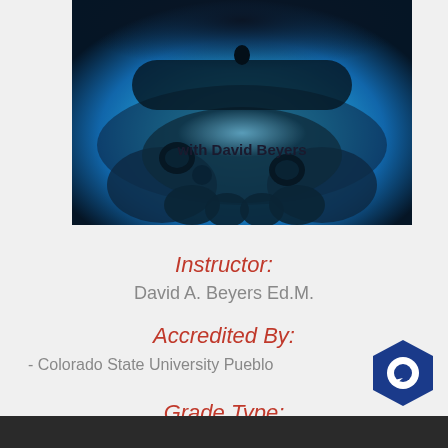[Figure (photo): Photo of a blue game controller with text 'with David Beyers' overlaid in the lower center]
with David Beyers
Instructor:
David A. Beyers Ed.M.
Accredited By:
- Colorado State University Pueblo
Grade Type: